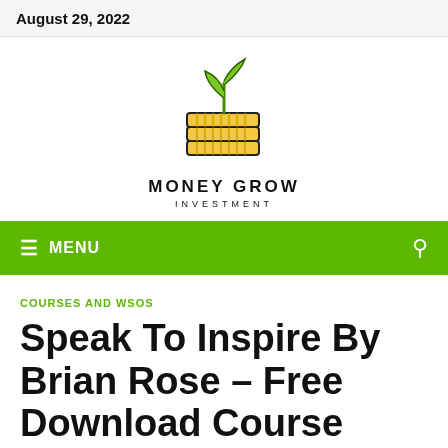August 29, 2022
[Figure (logo): Money Grow Investment logo: stack of gold coins with a green plant sprouting from top, with text MONEY GROW INVESTMENT below]
MENU
COURSES AND WSOS
Speak To Inspire By Brian Rose – Free Download Course